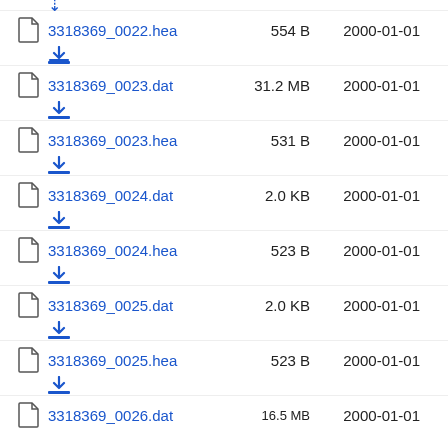3318369_0022.hea  554 B  2000-01-01
3318369_0023.dat  31.2 MB  2000-01-01
3318369_0023.hea  531 B  2000-01-01
3318369_0024.dat  2.0 KB  2000-01-01
3318369_0024.hea  523 B  2000-01-01
3318369_0025.dat  2.0 KB  2000-01-01
3318369_0025.hea  523 B  2000-01-01
3318369_0026.dat  16.5 MB  2000-01-01